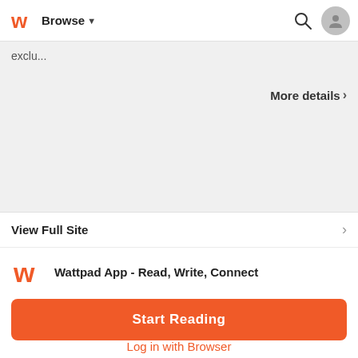Browse
exclu...
More details >
Free preview  +
View Full Site
Wattpad App - Read, Write, Connect
Start Reading
Log in with Browser